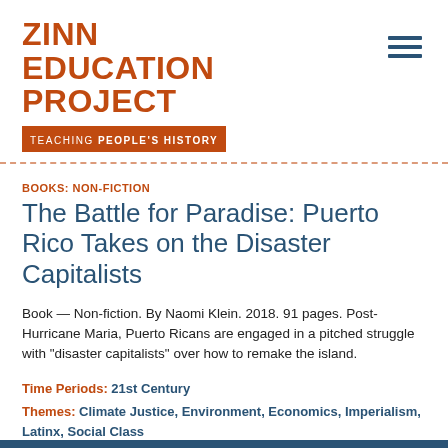ZINN EDUCATION PROJECT — TEACHING PEOPLE'S HISTORY
BOOKS: NON-FICTION
The Battle for Paradise: Puerto Rico Takes on the Disaster Capitalists
Book — Non-fiction. By Naomi Klein. 2018. 91 pages. Post-Hurricane Maria, Puerto Ricans are engaged in a pitched struggle with "disaster capitalists" over how to remake the island.
Time Periods: 21st Century
Themes: Climate Justice, Environment, Economics, Imperialism, Latinx, Social Class